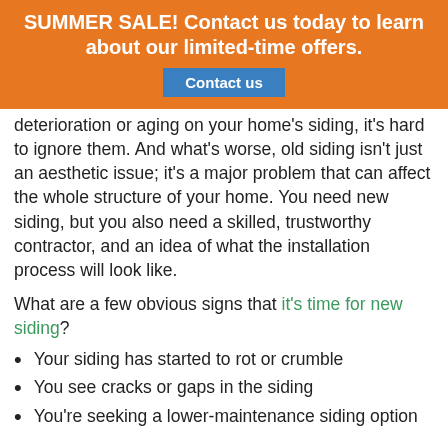SUMMER SALE! Contact us today to learn about our limited-time offers.
deterioration or aging on your home's siding, it's hard to ignore them. And what's worse, old siding isn't just an aesthetic issue; it's a major problem that can affect the whole structure of your home. You need new siding, but you also need a skilled, trustworthy contractor, and an idea of what the installation process will look like.
What are a few obvious signs that it's time for new siding?
Your siding has started to rot or crumble
You see cracks or gaps in the siding
You're seeking a lower-maintenance siding option